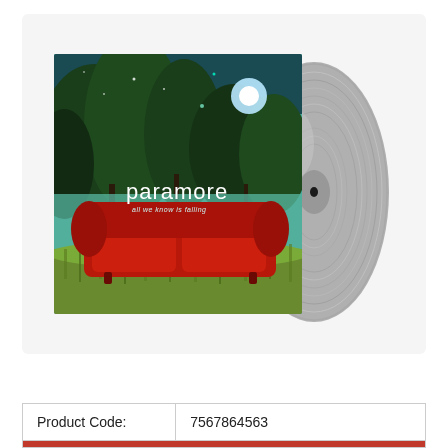[Figure (photo): Paramore 'All We Know Is Falling' album cover showing a red couch in a field with trees and teal sky, displayed alongside a silver/grey vinyl record, against a light grey background]
| Product Code: | 7567864563 |